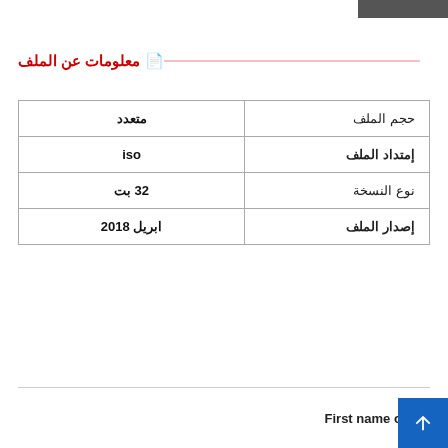معلومات عن الملف
| حجم الملف |  |
| --- | --- |
| حجم الملف | متعدد |
| إمتداد الملف | iso |
| نوع النسخة | 32 بت |
| إصدار الملف | ابريل 2018 |
First name or full